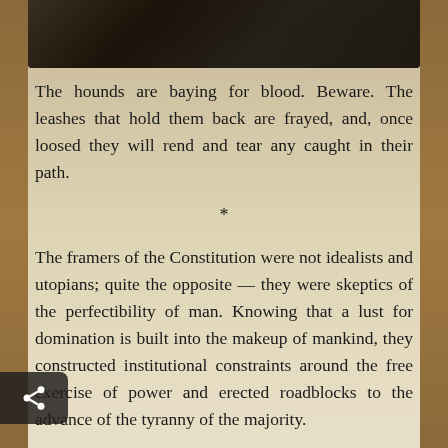[Figure (illustration): Dark fantasy game scene with figures/hounds, partially visible at top of page]
The hounds are baying for blood. Beware. The leashes that hold them back are frayed, and, once loosed they will rend and tear any caught in their path.
*
The framers of the Constitution were not idealists and utopians; quite the opposite — they were skeptics of the perfectibility of man. Knowing that a lust for domination is built into the makeup of mankind, they constructed institutional constraints around the free exercise of power and erected roadblocks to the advance of the tyranny of the majority.